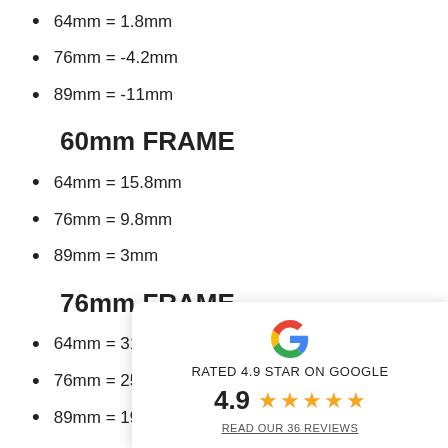64mm = 1.8mm
76mm = -4.2mm
89mm = -11mm
60mm FRAME
64mm = 15.8mm
76mm = 9.8mm
89mm = 3mm
76mm FRAME
64mm = 31.8m
76mm = 25.8m
89mm = 19mm
[Figure (infographic): Google rating card: RATED 4.9 STAR ON GOOGLE, rating 4.9 with 5 stars, READ OUR 36 REVIEWS]